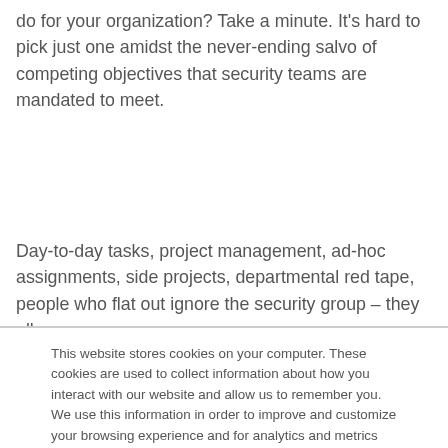do for your organization? Take a minute. It's hard to pick just one amidst the never-ending salvo of competing objectives that security teams are mandated to meet.
Day-to-day tasks, project management, ad-hoc assignments, side projects, departmental red tape, people who flat out ignore the security group – they all
This website stores cookies on your computer. These cookies are used to collect information about how you interact with our website and allow us to remember you. We use this information in order to improve and customize your browsing experience and for analytics and metrics about our visitors both on this website and other media. To find out more about the cookies we use, see our Privacy Policy

If you decline, your information won't be tracked when you visit this website. A single cookie will be used in your browser to remember your preference not to be tracked.
Accept
Decline